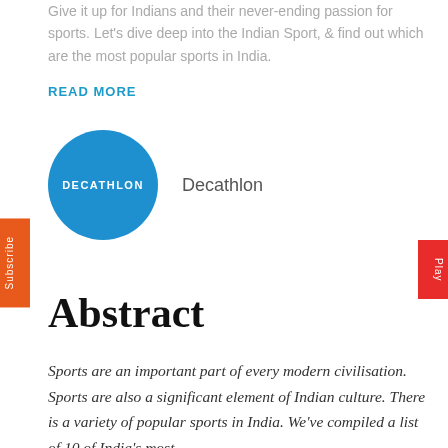Give it up for Indians and their never-ending passion for sports. Let's dive deep into the Indian Sport, & find out which are the most popular sports in India.
READ MORE
[Figure (logo): Decathlon circular blue logo with white text 'DECATHLON']
Decathlon
Abstract
Sports are an important part of every modern civilisation. Sports are also a significant element of Indian culture. There is a variety of popular sports in India. We've compiled a list of 10 of India's most